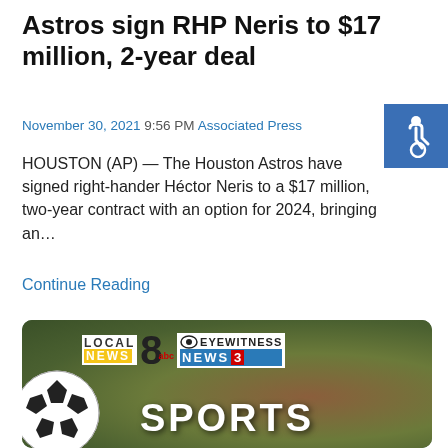Astros sign RHP Neris to $17 million, 2-year deal
November 30, 2021 9:56 PM Associated Press
HOUSTON (AP) — The Houston Astros have signed right-hander Héctor Neris to a $17 million, two-year contract with an option for 2024, bringing an…
Continue Reading
[Figure (photo): Local 8 ABC News / CBS Eyewitness News 3 Sports graphic with soccer ball, baseball and football in background]